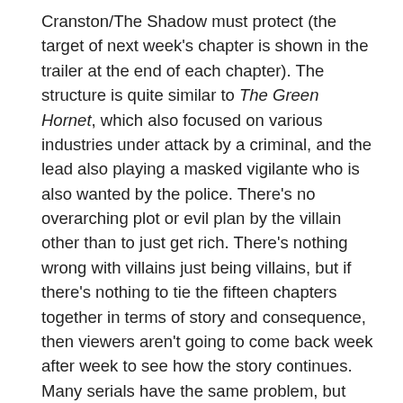Cranston/The Shadow must protect (the target of next week's chapter is shown in the trailer at the end of each chapter). The structure is quite similar to The Green Hornet, which also focused on various industries under attack by a criminal, and the lead also playing a masked vigilante who is also wanted by the police. There's no overarching plot or evil plan by the villain other than to just get rich. There's nothing wrong with villains just being villains, but if there's nothing to tie the fifteen chapters together in terms of story and consequence, then viewers aren't going to come back week after week to see how the story continues. Many serials have the same problem, but usually there's an overarching objective to the serial, such as sabotaging American infrastructure to pave the way for foreign invasion (particularly in the wartime serials of the 40s), but The Shadow is especially weak in this regard.
Lamont Cranston, the serial's lead protagonist, is a little